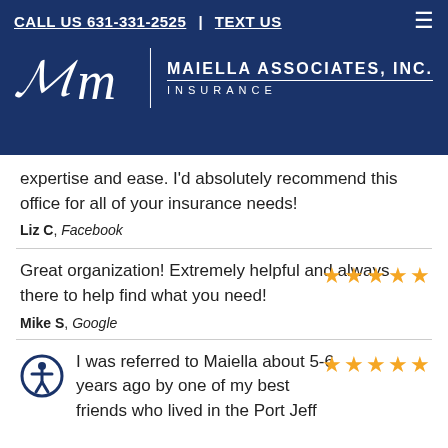CALL US 631-331-2525 | TEXT US
[Figure (logo): Maiella Associates, Inc. Insurance logo with script M on dark blue background]
expertise and ease. I'd absolutely recommend this office for all of your insurance needs!
Liz C, Facebook
Great organization! Extremely helpful and always there to help find what you need!
Mike S, Google
I was referred to Maiella about 5-6 years ago by one of my best friends who lived in the Port Jeff